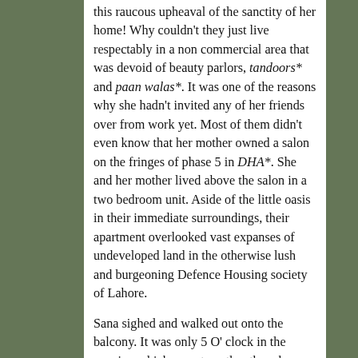this raucous upheaval of the sanctity of her home! Why couldn't they just live respectably in a non commercial area that was devoid of beauty parlors, tandoors* and paan walas*. It was one of the reasons why she hadn't invited any of her friends over from work yet. Most of them didn't even know that her mother owned a salon on the fringes of phase 5 in DHA*. She and her mother lived above the salon in a two bedroom unit. Aside of the little oasis in their immediate surroundings, their apartment overlooked vast expanses of undeveloped land in the otherwise lush and burgeoning Defence Housing society of Lahore.

Sana sighed and walked out onto the balcony. It was only 5 O' clock in the evening which meant another three hours of salon frenzy, a myriad cars parked downstairs, watched over by as motley a crowd of drivers. She sometimes stood